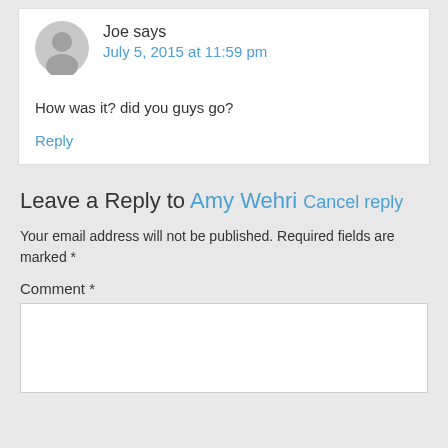[Figure (illustration): Gray default avatar icon — circular silhouette of a person]
Joe says
July 5, 2015 at 11:59 pm
How was it? did you guys go?
Reply
Leave a Reply to Amy Wehri Cancel reply
Your email address will not be published. Required fields are marked *
Comment *